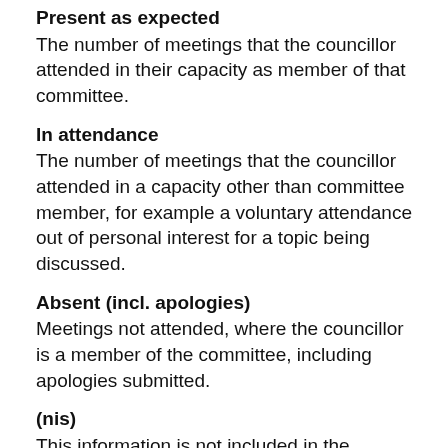Present as expected
The number of meetings that the councillor attended in their capacity as member of that committee.
In attendance
The number of meetings that the councillor attended in a capacity other than committee member, for example a voluntary attendance out of personal interest for a topic being discussed.
Absent (incl. apologies)
Meetings not attended, where the councillor is a member of the committee, including apologies submitted.
(nis)
This information is not included in the summary statistics above.